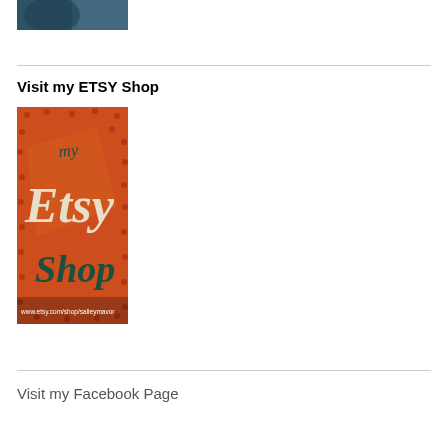[Figure (photo): Partial photo of a person, showing head/shoulders area cropped at top of page]
Visit my ETSY Shop
[Figure (photo): Etsy shop promotional image on orange/red textured felt background with embroidered text reading 'my Etsy Shop' and URL www.etsy.com/shop/salleymavor]
Visit my Facebook Page